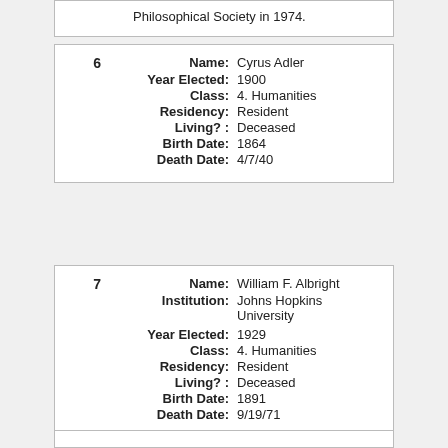Philosophical Society in 1974.
| 6 | Name: | Cyrus Adler |
|  | Year Elected: | 1900 |
|  | Class: | 4. Humanities |
|  | Residency: | Resident |
|  | Living? : | Deceased |
|  | Birth Date: | 1864 |
|  | Death Date: | 4/7/40 |
| 7 | Name: | William F. Albright |
|  | Institution: | Johns Hopkins University |
|  | Year Elected: | 1929 |
|  | Class: | 4. Humanities |
|  | Residency: | Resident |
|  | Living? : | Deceased |
|  | Birth Date: | 1891 |
|  | Death Date: | 9/19/71 |